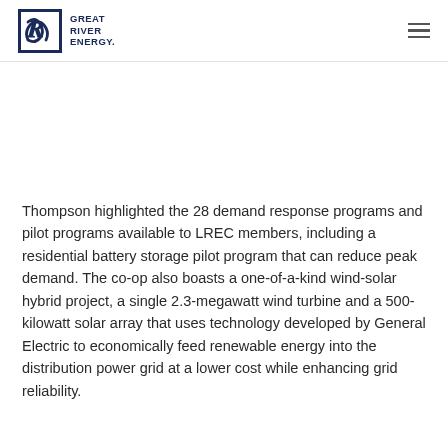Great River Energy
Thompson highlighted the 28 demand response programs and pilot programs available to LREC members, including a residential battery storage pilot program that can reduce peak demand. The co-op also boasts a one-of-a-kind wind-solar hybrid project, a single 2.3-megawatt wind turbine and a 500-kilowatt solar array that uses technology developed by General Electric to economically feed renewable energy into the distribution power grid at a lower cost while enhancing grid reliability.